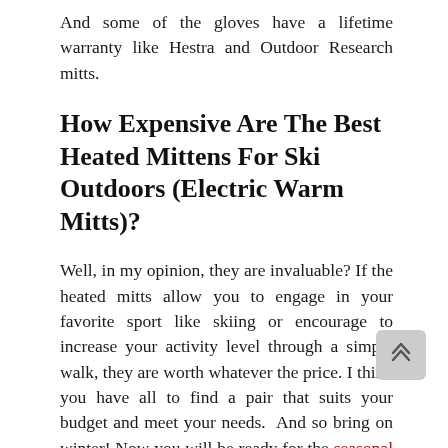And some of the gloves have a lifetime warranty like Hestra and Outdoor Research mitts.
How Expensive Are The Best Heated Mittens For Ski Outdoors (Electric Warm Mitts)?
Well, in my opinion, they are invaluable? If the heated mitts allow you to engage in your favorite sport like skiing or encourage to increase your activity level through a simple walk, they are worth whatever the price. I think you have all to find a pair that suits your budget and meet your needs.  And so bring on winter! Now you will be ready for the seasonal change.
If you have any questions or comments about wool gloves, heated mittens or seeking